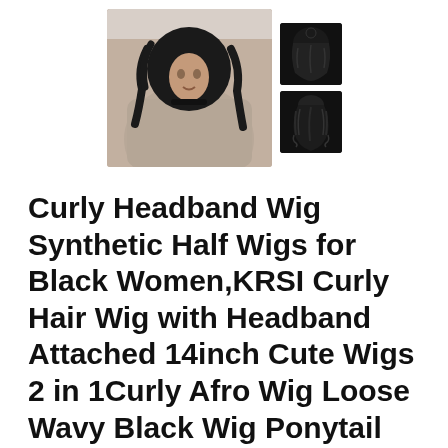[Figure (photo): Product photo showing a woman wearing a curly black headband wig, with two smaller thumbnail images to the right showing the wig product on its own.]
Curly Headband Wig Synthetic Half Wigs for Black Women,KRSI Curly Hair Wig with Headband Attached 14inch Cute Wigs 2 in 1Curly Afro Wig Loose Wavy Black Wig Ponytail Wigs for Black Women(1B)